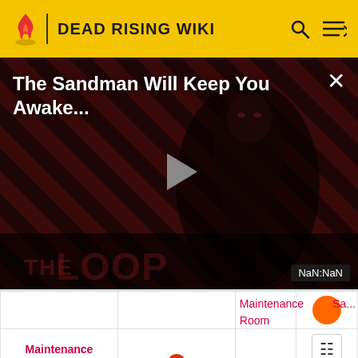DEAD RISING WIKI
[Figure (screenshot): Video player overlay showing 'The Sandman Will Keep You Awake...' title with a dark figure on a striped red/brown background. A play button triangle is centered. Bottom right shows 'NaN:NaN' timestamp. 'THE LOOP' logo visible at bottom.]
|  |  |  |  |
| --- | --- | --- | --- |
|  |  |  |  |
| Maintenance Room 30
Edit this store | 📍 Warehouse B |  | Maintenance Room |